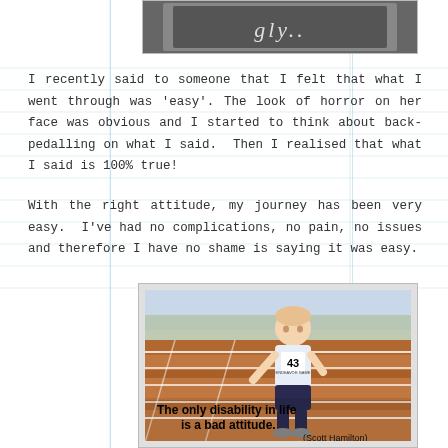[Figure (photo): Partial photo of a person wearing a dark shirt with text partially visible reading '...gly..']
I recently said to someone that I felt that what I went through was 'easy'. The look of horror on her face was obvious and I started to think about back-pedalling on what I said.  Then I realised that what I said is 100% true!
With the right attitude, my journey has been very easy.  I've had no complications, no pain, no issues and therefore I have no shame is saying it was easy.
[Figure (photo): Photo of a young smiling boy running on a track wearing bib number 43 and a shirt reading 'Endeavor Games'. Overlaid text reads: 'The only disability in life is a bad attitude. (Scott Hamilton)']